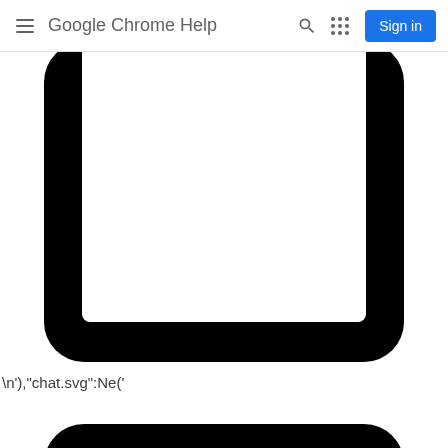Google Chrome Help
[Figure (illustration): Large black rounded rectangle outline resembling a tablet or monitor frame, top portion cut off at page boundary, white interior]
\n'),"chat.svg":Ne('
[Figure (illustration): Large black rounded rectangle outline resembling a tablet or monitor frame, only top portion visible, white interior]